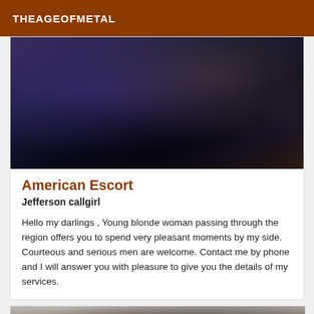THEAGEOFMETAL
[Figure (photo): Close-up photo of dark blue fabric or clothing with dramatic lighting, mostly dark tones.]
American Escort
Jefferson callgirl
Hello my darlings , Young blonde woman passing through the region offers you to spend very pleasant moments by my side. Courteous and serious men are welcome. Contact me by phone and I will answer you with pleasure to give you the details of my services.
[Figure (photo): Partial black and white photo, showing top of a person's head with dark hair.]